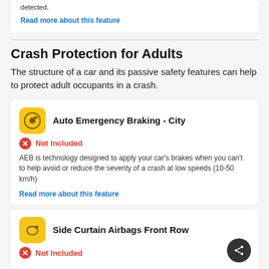detected.
Read more about this feature
Crash Protection for Adults
The structure of a car and its passive safety features can help to protect adult occupants in a crash.
Auto Emergency Braking - City
Not Included
AEB is technology designed to apply your car’s brakes when you can’t to help avoid or reduce the severity of a crash at low speeds (10-50 km/h)
Read more about this feature
Side Curtain Airbags Front Row
Not Included